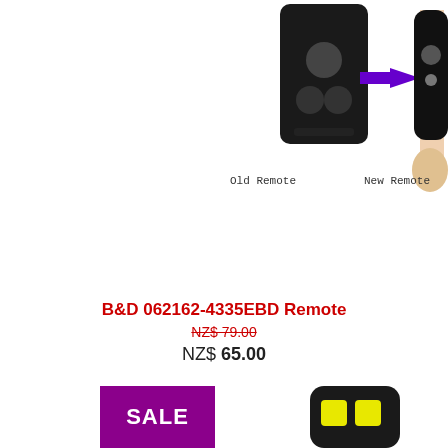[Figure (photo): Two remotes side by side: an old black remote controller on the left and a new remote (held in hand) on the right, connected by a purple arrow. Labeled 'Old Remote' and 'New Remote' below.]
Old Remote   New Remote
B&D 062162-4335EBD Remote
NZ$ 79.00
NZ$  65.00
[Figure (photo): A SALE badge in purple/magenta and a black remote with two yellow buttons shown partially at the bottom of the page.]